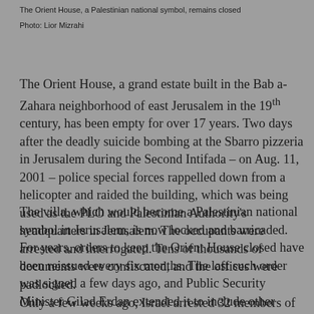The Orient House, a Palestinian national symbol, remains closed
Photo: Lior Mizrahi
The Orient House, a grand estate built in the Bab a-Zahara neighborhood of east Jerusalem in the 19th century, has been empty for over 17 years. Two days after the deadly suicide bombing at the Sbarro pizzeria in Jerusalem during the Second Intifada – on Aug. 11, 2001 – police special forces rappelled down from a helicopter and raided the building, which was being used as the PLO and Palestinian Authority's headquarters in Jerusalem. The occupants were arrested and interrogated. Tens of thousands of documents were confiscated, and the offices were padlocked.
The villa, which would become a Palestinian national symbol in Jerusalem, is now locked and barricaded. For years, orders to keep the Orient House closed have been reissued every six months. The last such order was signed a few days ago, and Public Security Minister Gilad Erdan extended it to include other Palestinian institutions that operate in Jerusalem. But the quiet at the Orient House is deceptive.
Only a few weeks ago, Israel arrested 32 members of the PA